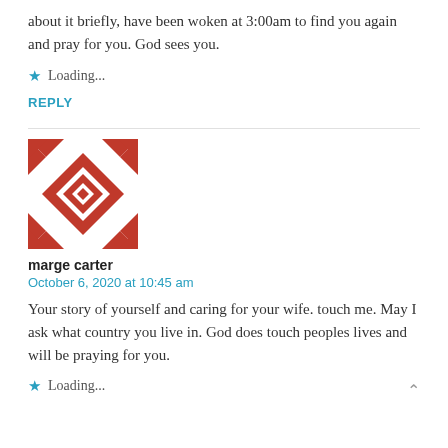about it briefly, have been woken at 3:00am to find you again and pray for you. God sees you.
Loading...
REPLY
[Figure (illustration): Red and white geometric quilt-pattern avatar icon]
marge carter
October 6, 2020 at 10:45 am
Your story of yourself and caring for your wife. touch me. May I ask what country you live in. God does touch peoples lives and will be praying for you.
Loading...